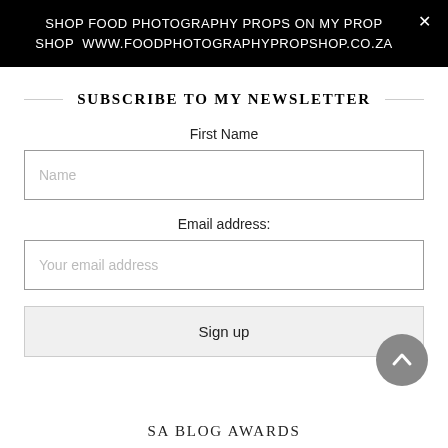SHOP FOOD PHOTOGRAPHY PROPS ON MY PROP SHOP  WWW.FOODPHOTOGRAPHYPROPSHOP.CO.ZA
SUBSCRIBE TO MY NEWSLETTER
First Name
Name
Email address:
Your email address
Sign up
[Figure (other): Back to top circular button with upward chevron arrow]
SA BLOG AWARDS